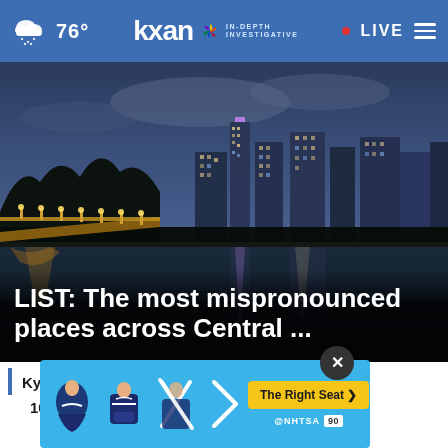76° KXAN IN-DEPTH INVESTIGATIVE • LIVE
[Figure (photo): Austin Texas skyline at night reflected in a river with a lit bridge/walkway in the foreground]
LIST: The most mispronounced places across Central ...
Kyle Rittenhouse a passenger in Txall traffi...
10 s...
[Figure (infographic): NHTSA ad banner: The Right Seat > with car seat safety icons and @NHTSA badge, with a close (X) button]